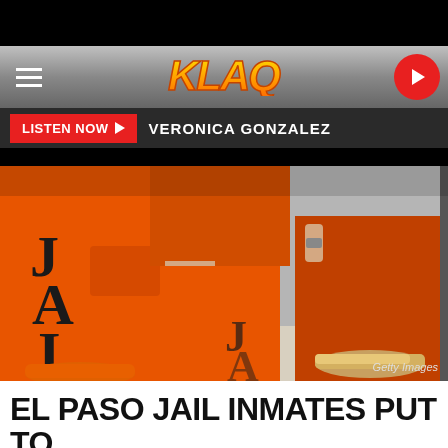KLAQ
LISTEN NOW ▶   VERONICA GONZALEZ
[Figure (photo): Inmates in orange jail jumpsuits with 'JAIL' printed on legs, standing in a line; one inmate holds a blue book. Photo credit: Getty Images.]
EL PASO JAIL INMATES PUT TO